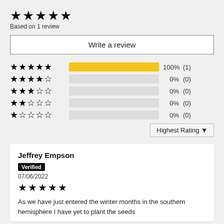★★★★★
Based on 1 review
Write a review
[Figure (bar-chart): Rating breakdown]
Highest Rating ▼
Jeffrey Empson
Verified
07/06/2022
★★★★★
As we have just entered the winter months in the southern hemisphere I have yet to plant the seeds